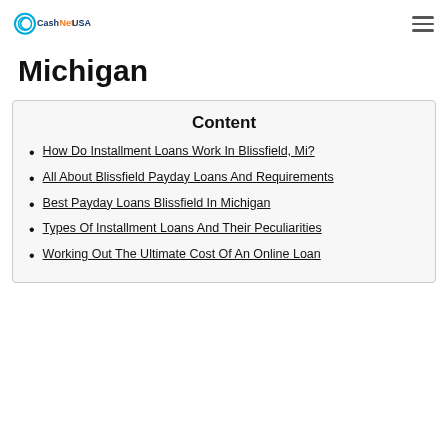CashNetUSA logo and navigation menu
Michigan
Content
How Do Installment Loans Work In Blissfield, Mi?
All About Blissfield Payday Loans And Requirements
Best Payday Loans Blissfield In Michigan
Types Of Installment Loans And Their Peculiarities
Working Out The Ultimate Cost Of An Online Loan